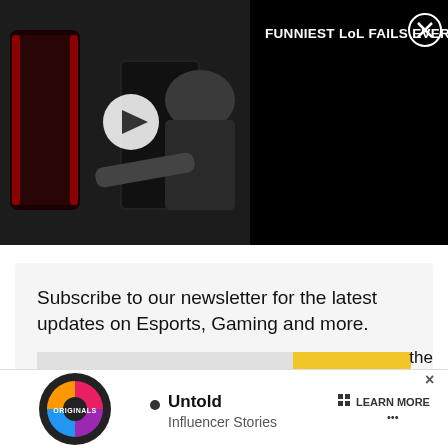[Figure (screenshot): Video player thumbnail showing a person in a gaming chair with a play button overlay, and video title 'FUNNIEST LoL FAILS EVER!' on a black background with a close (X) button]
Subscribe to our newsletter for the latest updates on Esports, Gaming and more.
[Figure (other): Email signup form with an email input field and a yellow 'Sign up' button]
Adin's “toxic” fanbase was discussed
Impau
[Figure (other): Bottom advertisement banner with Originals logo, 'Untold Influencer Stories' text, and LEARN MORE button with close X]
the